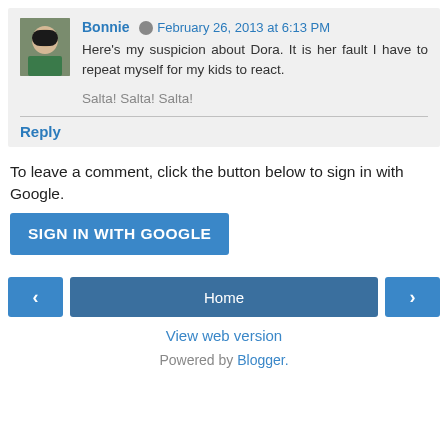Bonnie  February 26, 2013 at 6:13 PM
Here's my suspicion about Dora. It is her fault I have to repeat myself for my kids to react.

Salta! Salta! Salta!
Reply
To leave a comment, click the button below to sign in with Google.
SIGN IN WITH GOOGLE
Home
View web version
Powered by Blogger.